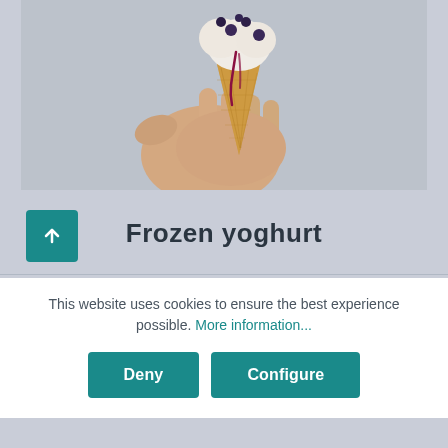[Figure (photo): A hand holding an ice cream cone with blueberry topping against a gray background]
Frozen yoghurt
This website uses cookies to ensure the best experience possible. More information...
Deny
Configure